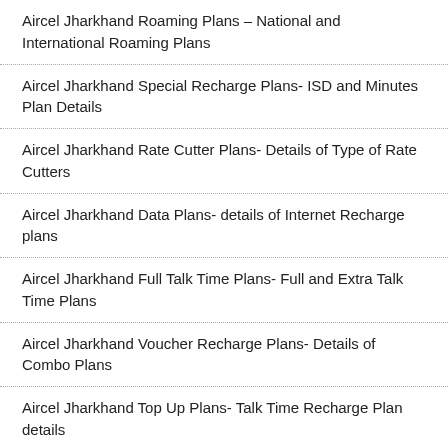Aircel Jharkhand Roaming Plans – National and International Roaming Plans
Aircel Jharkhand Special Recharge Plans- ISD and Minutes Plan Details
Aircel Jharkhand Rate Cutter Plans- Details of Type of Rate Cutters
Aircel Jharkhand Data Plans- details of Internet Recharge plans
Aircel Jharkhand Full Talk Time Plans- Full and Extra Talk Time Plans
Aircel Jharkhand Voucher Recharge Plans- Details of Combo Plans
Aircel Jharkhand Top Up Plans- Talk Time Recharge Plan details